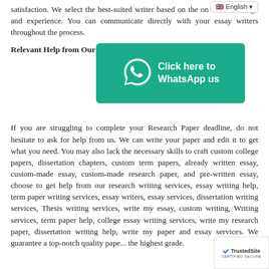satisfaction. We select the best-suited writer based on the on his knowledge and experience. You can communicate directly with your essay writers throughout the process.
[Figure (screenshot): WhatsApp banner: teal background with WhatsApp phone icon and text 'Click here to WhatsApp us']
Relevant Help from Our Writers
If you are struggling to complete your Research Paper deadline, do not hesitate to ask for help from us. We can write your paper and edit it to get what you need. You may also lack the necessary skills to craft custom college papers, dissertation chapters, custom term papers, already written essay, custom-made essay, custom-made research paper, and pre-written essay, choose to get help from our research writing services, essay writing help, term paper writing services, essay writers, essay services, dissertation writing services, Thesis writing services, write my essay, custom writing, Writing services, term paper help, college essay writing services, write my research paper, dissertation writing help, write my paper and essay services. We guarantee a top-notch quality paper to earn the highest grade.